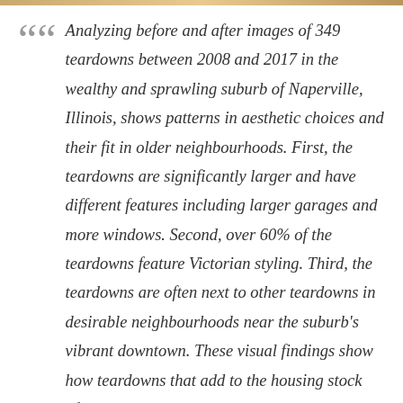Analyzing before and after images of 349 teardowns between 2008 and 2017 in the wealthy and sprawling suburb of Naperville, Illinois, shows patterns in aesthetic choices and their fit in older neighbourhoods. First, the teardowns are significantly larger and have different features including larger garages and more windows. Second, over 60% of the teardowns feature Victorian styling. Third, the teardowns are often next to other teardowns in desirable neighbourhoods near the suburb's vibrant downtown. These visual findings show how teardowns that add to the housing stock often imitate common architectural